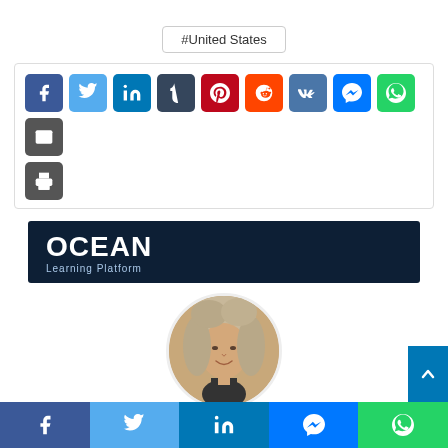#United States
[Figure (screenshot): Social media share buttons: Facebook, Twitter, LinkedIn, Tumblr, Pinterest, Reddit, VK, Messenger, WhatsApp, Email, Print]
[Figure (logo): OCEAN Learning Platform banner on dark navy background]
[Figure (photo): Circular profile photo of a woman with curly blonde/grey hair, smiling]
[Figure (screenshot): Bottom share bar with Facebook, Twitter, LinkedIn, Messenger, WhatsApp icons]